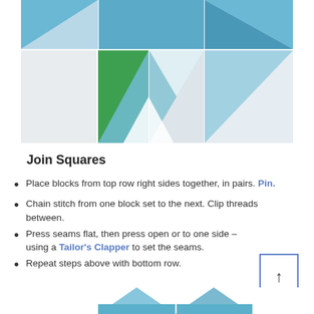[Figure (illustration): Quilt block pattern showing blue and white triangular fabric pieces arranged in a grid, top portion of page]
Join Squares
Place blocks from top row right sides together, in pairs. Pin.
Chain stitch from one block set to the next. Clip threads between.
Press seams flat, then press open or to one side – using a Tailor's Clapper to set the seams.
Repeat steps above with bottom row.
[Figure (illustration): Quilt block pattern showing blue and white triangular fabric pieces, bottom portion of page (partial)]